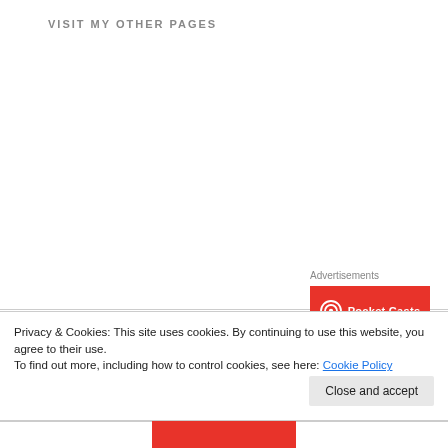VISIT MY OTHER PAGES
Advertisements
[Figure (advertisement): Pocket Casts app advertisement on red background with logo and text 'An app by listeners, for']
Privacy & Cookies: This site uses cookies. By continuing to use this website, you agree to their use.
To find out more, including how to control cookies, see here: Cookie Policy
Close and accept